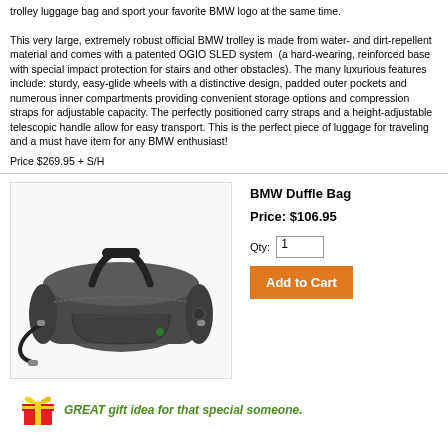trolley luggage bag and sport your favorite BMW logo at the same time. This very large, extremely robust official BMW trolley is made from water- and dirt-repellent material and comes with a patented OGIO SLED system (a hard-wearing, reinforced base with special impact protection for stairs and other obstacles). The many luxurious features include: sturdy, easy-glide wheels with a distinctive design, padded outer pockets and numerous inner compartments providing convenient storage options and compression straps for adjustable capacity. The perfectly positioned carry straps and a height-adjustable telescopic handle allow for easy transport. This is the perfect piece of luggage for traveling and a must have item for any BMW enthusiast!
Price $269.95 + S/H
[Figure (photo): BMW Duffle Bag product photo - a dark grey/charcoal duffel bag with black handles and shoulder strap]
BMW Duffle Bag
Price: $106.95
Qty: 1
Add to Cart
GREAT gift idea for that special someone.